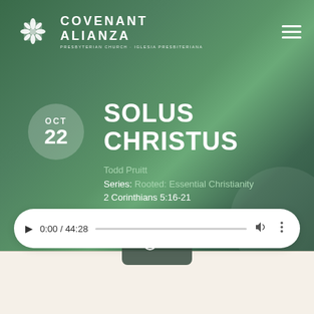[Figure (logo): Covenant Alianza Presbyterian Church logo with snowflake-style emblem and text]
SOLUS CHRISTUS
OCT 22
Todd Pruitt
Series: Rooted: Essential Christianity
2 Corinthians 5:16-21
[Figure (screenshot): Audio player showing 0:00 / 44:28 with play button, progress bar, volume and more options icons]